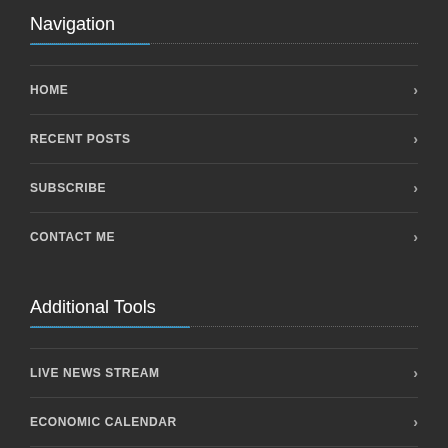Navigation
HOME
RECENT POSTS
SUBSCRIBE
CONTACT ME
Additional Tools
LIVE NEWS STREAM
ECONOMIC CALENDAR
EDUCATIONAL SERIES
Contact Me